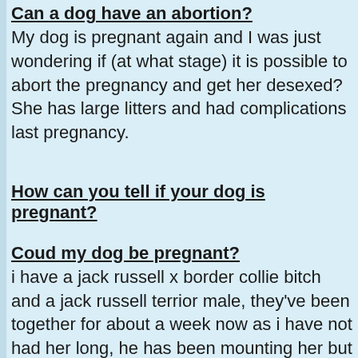Can a dog have an abortion?
My dog is pregnant again and I was just wondering if (at what stage) it is possible to abort the pregnancy and get her desexed? She has large litters and had complications last pregnancy.
How can you tell if your dog is pregnant?
Coud my dog be pregnant?
i have a jack russell x border collie bitch and a jack russell terrior male, they've been together for about a week now as i have not had her long, he has been mounting her but has not been on her for long, could she be pregnant?
Pregnant dog is passed her due date but no puppies